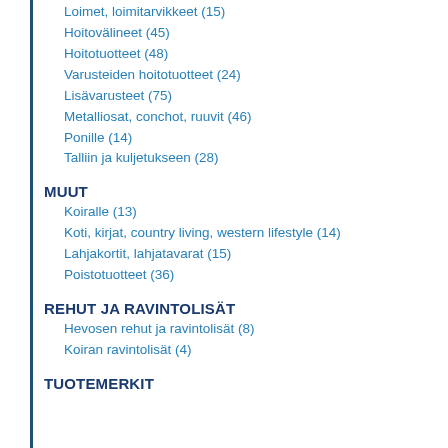Loimet, loimitarvikkeet (15)
Hoitovälineet (45)
Hoitotuotteet (48)
Varusteiden hoitotuotteet (24)
Lisävarusteet (75)
Metalliosat, conchot, ruuvit (46)
Ponille (14)
Talliin ja kuljetukseen (28)
MUUT
Koiralle (13)
Koti, kirjat, country living, western lifestyle (14)
Lahjakortit, lahjatavarat (15)
Poistotuotteet (36)
REHUT JA RAVINTOLISÄT
Hevosen rehut ja ravintolisät (8)
Koiran ravintolisät (4)
TUOTEMERKIT